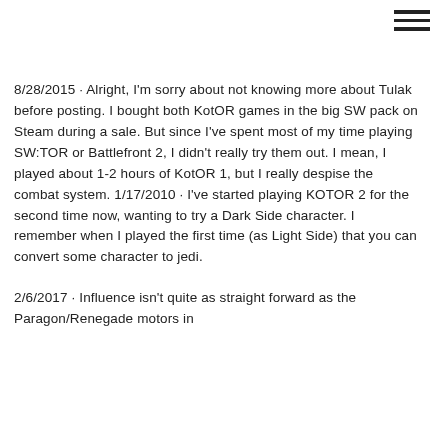[hamburger menu icon]
8/28/2015 · Alright, I'm sorry about not knowing more about Tulak before posting. I bought both KotOR games in the big SW pack on Steam during a sale. But since I've spent most of my time playing SW:TOR or Battlefront 2, I didn't really try them out. I mean, I played about 1-2 hours of KotOR 1, but I really despise the combat system. 1/17/2010 · I've started playing KOTOR 2 for the second time now, wanting to try a Dark Side character. I remember when I played the first time (as Light Side) that you can convert some character to jedi.
2/6/2017 · Influence isn't quite as straight forward as the Paragon/Renegade meters in